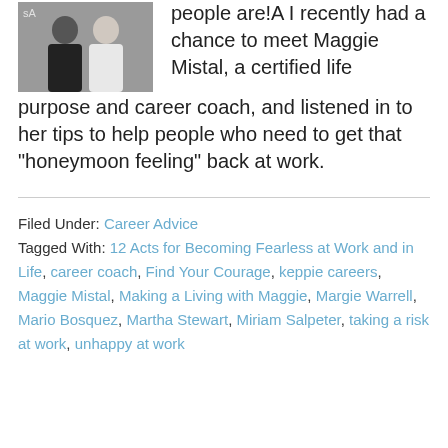[Figure (photo): Two people standing together, one in a dark shirt and one in a white shirt.]
people are!A I recently had a chance to meet Maggie Mistal, a certified life purpose and career coach, and listened in to her tips to help people who need to get that “honeymoon feeling” back at work.
Filed Under: Career Advice
Tagged With: 12 Acts for Becoming Fearless at Work and in Life, career coach, Find Your Courage, keppie careers, Maggie Mistal, Making a Living with Maggie, Margie Warrell, Mario Bosquez, Martha Stewart, Miriam Salpeter, taking a risk at work, unhappy at work